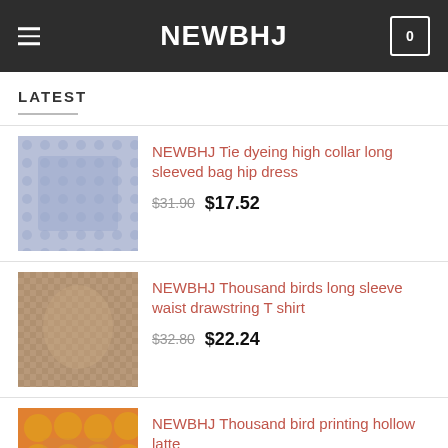NEWBHJ
LATEST
NEWBHJ Tie dyeing high collar long sleeved bag hip dress — $31.90 / $17.52
NEWBHJ Thousand birds long sleeve waist drawstring T shirt — $32.80 / $22.24
NEWBHJ Thousand bird printing hollow latte — $45.41 / $28.33
NEWBHJ Sweet white zip long sleeve bottoming shirt